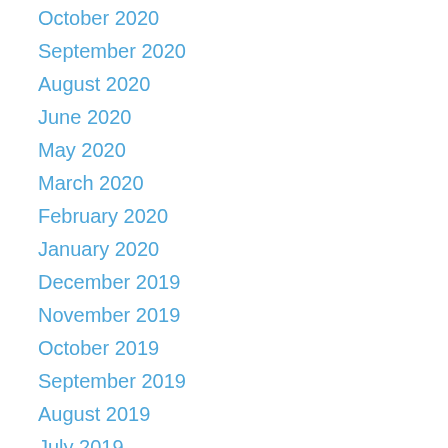October 2020
September 2020
August 2020
June 2020
May 2020
March 2020
February 2020
January 2020
December 2019
November 2019
October 2019
September 2019
August 2019
July 2019
June 2019
May 2019
April 2019
March 2019
February 2019
December 2018